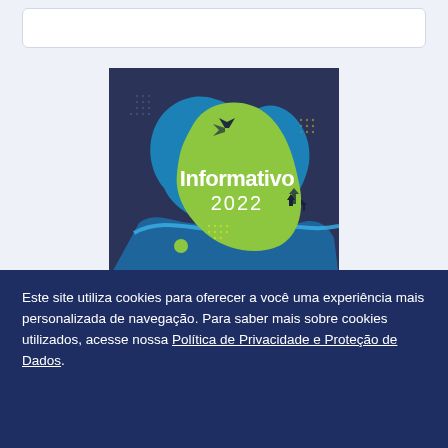[Figure (illustration): Informativo 2022 graphic logo with green blob shape on dark navy background with blue fluid shapes and decorative dot patterns]
Este site utiliza cookies para oferecer a você uma experiência mais personalizada de navegação. Para saber mais sobre cookies utilizados, acesse nossa Política de Privacidade e Proteção de Dados.